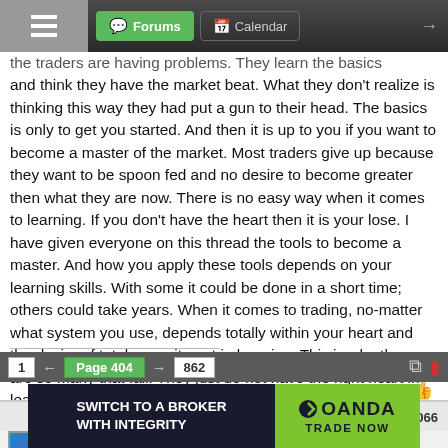Forums | Calendar
the traders are having problems. They learn the basics and think they have the market beat. What they don't realize is thinking this way they had put a gun to their head. The basics is only to get you started. And then it is up to you if you want to become a master of the market. Most traders give up because they want to be spoon fed and no desire to become greater then what they are now. There is no easy way when it comes to learning. If you don't have the heart then it is your lose. I have given everyone on this thread the tools to become a master. And how you apply these tools depends on your learning skills. With some it could be done in a short time; others could take years. When it comes to trading, no-matter what system you use, depends totally within your heart and the desire of total commitment in learning. This is why there are so many that fail. They just do not have the right heart in learning.
The Dove - Forex Trainer
2
Feb 16, 2017 1:54pm
#8,066
tullegate | Joined Feb 2017
1 ← Page 404 → 862
[Figure (other): OANDA broker advertisement banner: 'SWITCH TO A BROKER WITH INTEGRITY' on dark background, OANDA logo and 'TRADE NOW' on green background]